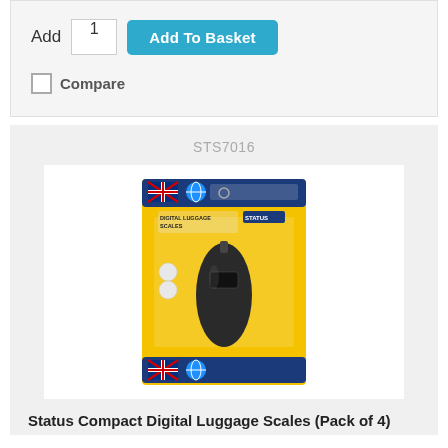Add  1  Add To Basket
Compare
STS7016
[Figure (photo): Product packaging of Status Compact Digital Luggage Scales on yellow blister card with UK and globe flags at top and bottom]
Status Compact Digital Luggage Scales (Pack of 4)